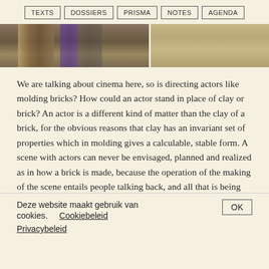TEXTS | DOSSIERS | PRISMA | NOTES | AGENDA
[Figure (photo): A horizontal photo strip showing two images side by side: left image shows a person in traditional/ethnic clothing, right image shows a sandy/desert surface texture.]
We are talking about cinema here, so is directing actors like molding bricks? How could an actor stand in place of clay or brick? An actor is a different kind of matter than the clay of a brick, for the obvious reasons that clay has an invariant set of properties which in molding gives a calculable, stable form. A scene with actors can never be envisaged, planned and realized as in how a brick is made, because the operation of the making of the scene entails people talking back, and all that is being expressed in that moment live. In that sense, living actors are more active matter than clay and thus give a larger sense of difference. Even if rehearsed and reported
Deze website maakt gebruik van cookies.    Cookiebeleid
Privacybeleid